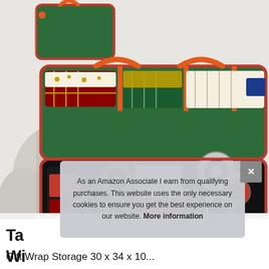[Figure (photo): Product photo of a green and red Christmas wrapping paper storage bag, open to show interior compartments with rolls of wrapping paper in the top section and ribbon spools, scissors, gift tags, and other accessories in the bottom section. A person's hands are visible organizing the bag.]
As an Amazon Associate I earn from qualifying purchases. This website uses the only necessary cookies to ensure you get the best experience on our website. More information
Ta... Wi...
Gift Wrap Storage 30 x 34 x 10...